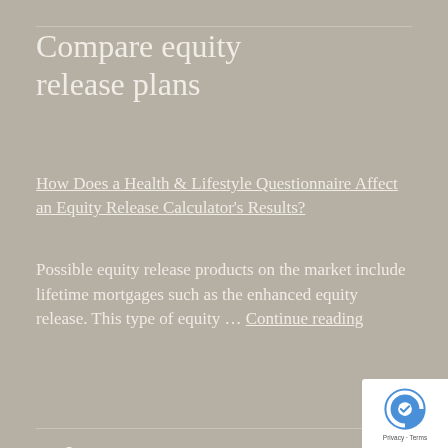Compare equity release plans
How Does a Health & Lifestyle Questionnaire Affect an Equity Release Calculator's Results?
Possible equity release products on the market include lifetime mortgages such as the enhanced equity release. This type of equity … Continue reading
What's your maximum release?
Equity Release Calculator
Compare Stockhaven Plans